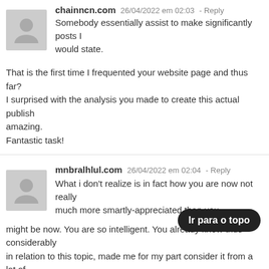chainncn.com  26/04/2022 em 02:03 - Reply
Somebody essentially assist to make significantly posts I would state. That is the first time I frequented your website page and thus far? I surprised with the analysis you made to create this actual publish amazing. Fantastic task!
mnbralhlul.com  26/04/2022 em 02:04 - Reply
What i don't realize is in fact how you are now not really much more smartly-appreciated than you might be now. You are so intelligent. You already know thus considerably in relation to this topic, made me for my part consider it from a lot of varied angles. Its like women and men don't seem to be interested unless it's something to accomplish with Girl gaga! Your personal stuffs outstanding. Always deal with it up!
Ir para o topo
https://telegra.ph/Six-Examples-Of-Minecraft-04-21